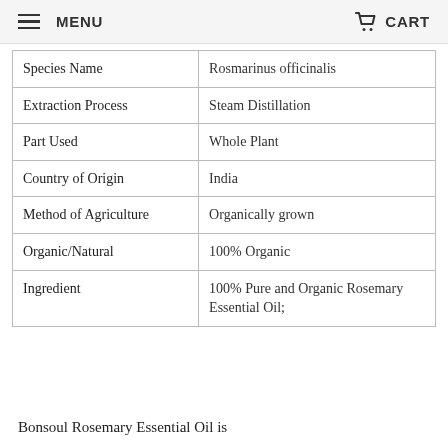MENU   CART
| Species Name | Rosmarinus officinalis |
| Extraction Process | Steam Distillation |
| Part Used | Whole Plant |
| Country of Origin | India |
| Method of Agriculture | Organically grown |
| Organic/Natural | 100% Organic |
| Ingredient | 100% Pure and Organic Rosemary Essential Oil; |
Bonsoul Rosemary Essential Oil is